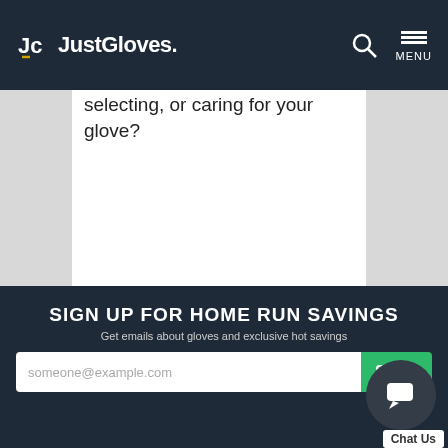JustGloves.
selecting, or caring for your glove?
1-866-321-4568
experts@justballgloves.com
Live Chat
SIGN UP FOR HOME RUN SAVINGS
Get emails about gloves and exclusive hot savings